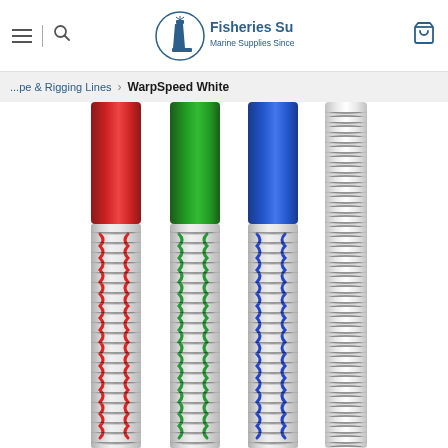Fisheries Supply — Marine Supplies Since 1928
...pe & Rigging Lines > WarpSpeed White
[Figure (photo): Four braided marine ropes side by side: one with red tracer, one with green tracer, one with blue tracer, and one all-white. The ropes have white braided covers with colored tracers woven in, and the top portions show the unsheathed colored cores (red, green, blue, and white).]